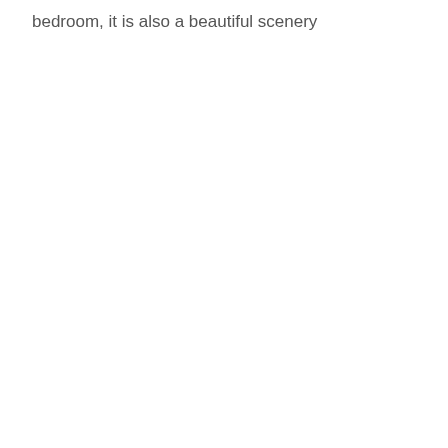bedroom, it is also a beautiful scenery